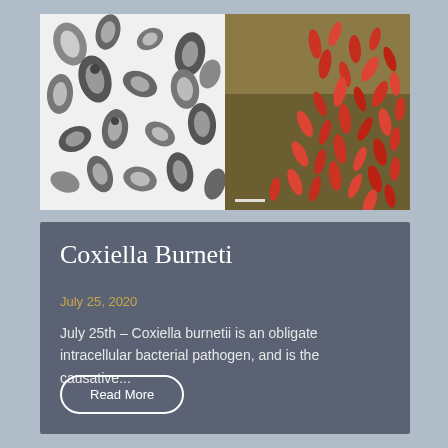[Figure (photo): Black and white electron microscope image of Coxiella burnetii bacteria cells showing oval and rod-shaped organisms]
[Figure (photo): Colorized scanning electron microscope image showing clusters of red/orange rod-shaped Coxiella burnetii bacteria on a yellow-brown surface]
Coxiella Burneti
July 25, 2020
July 25th – Coxiella burnetii is an obligate intracellular bacterial pathogen, and is the causative...
Read More